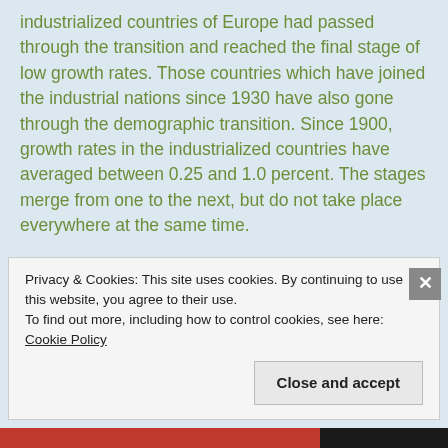industrialized countries of Europe had passed through the transition and reached the final stage of low growth rates. Those countries which have joined the industrial nations since 1930 have also gone through the demographic transition. Since 1900, growth rates in the industrialized countries have averaged between 0.25 and 1.0 percent. The stages merge from one to the next, but do not take place everywhere at the same time.
Population Growth Rate of Undeveloped Countries
Most of the nearly 200 nations existing today have not reached the third phase. Many less developed
Privacy & Cookies: This site uses cookies. By continuing to use this website, you agree to their use.
To find out more, including how to control cookies, see here: Cookie Policy